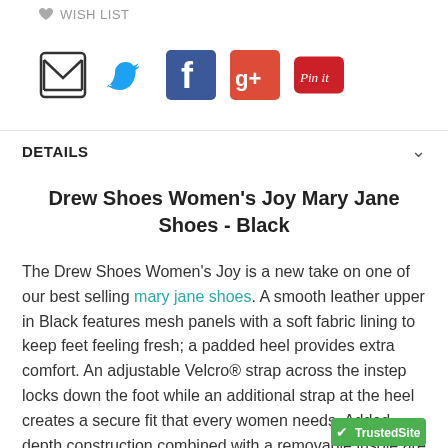WISH LIST
[Figure (infographic): Social sharing icons: email (envelope), Twitter bird (teal), Facebook (blue), Google+ (red), Pinterest Pin it (red/pink)]
DETAILS
Drew Shoes Women's Joy Mary Jane Shoes - Black
The Drew Shoes Women's Joy is a new take on one of our best selling mary jane shoes. A smooth leather upper in Black features mesh panels with a soft fabric lining to keep feet feeling fresh; a padded heel provides extra comfort. An adjustable Velcro® strap across the instep locks down the foot while an additional strap at the heel creates a secure fit that every women needs. Added depth construction combined with a removable insole are perfect for accommodating prescribed orthotics. The Drew Joy Womens Mary Jane Shoes are built atop